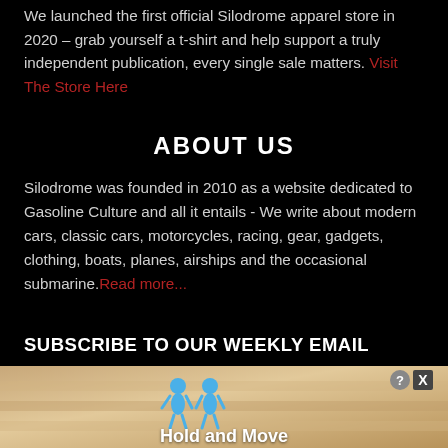We launched the first official Silodrome apparel store in 2020 – grab yourself a t-shirt and help support a truly independent publication, every single sale matters. Visit The Store Here
ABOUT US
Silodrome was founded in 2010 as a website dedicated to Gasoline Culture and all it entails - We write about modern cars, classic cars, motorcycles, racing, gear, gadgets, clothing, boats, planes, airships and the occasional submarine. Read more...
SUBSCRIBE TO OUR WEEKLY EMAIL
Email Address
[Figure (screenshot): Advertisement banner at bottom showing cartoon figures with text 'Hold and Move', with help (?) and close (X) buttons in top right corner]